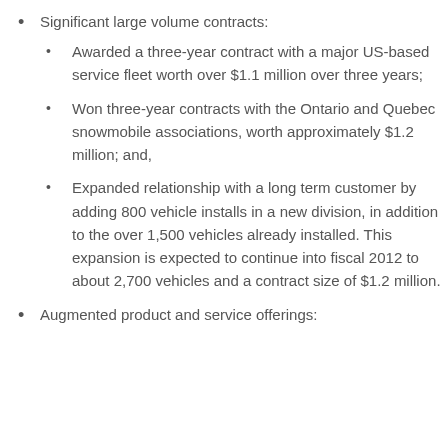Significant large volume contracts:
Awarded a three-year contract with a major US-based service fleet worth over $1.1 million over three years;
Won three-year contracts with the Ontario and Quebec snowmobile associations, worth approximately $1.2 million; and,
Expanded relationship with a long term customer by adding 800 vehicle installs in a new division, in addition to the over 1,500 vehicles already installed. This expansion is expected to continue into fiscal 2012 to about 2,700 vehicles and a contract size of $1.2 million.
Augmented product and service offerings: